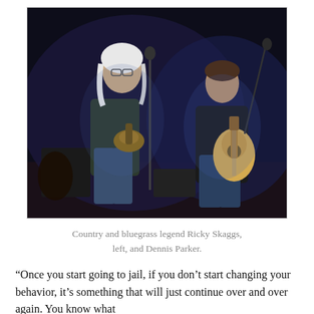[Figure (photo): Two musicians performing on a darkened stage. On the left, an older man with long white hair and glasses plays a mandolin, wearing a dark shirt and jeans. On the right, a man in a dark blazer plays an acoustic guitar. Stage lighting illuminates them against a dark background.]
Country and bluegrass legend Ricky Skaggs, left, and Dennis Parker.
“Once you start going to jail, if you don’t start changing your behavior, it’s something that will just continue over and over again. You know what